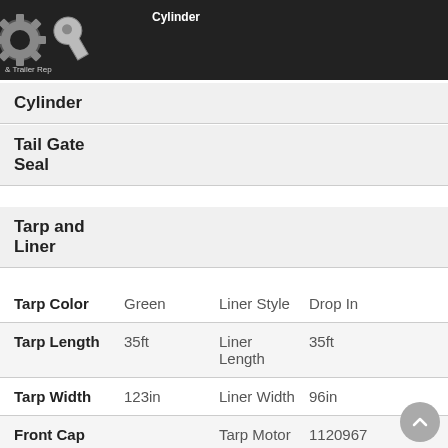[Figure (logo): Truck and Trailer Repair logo with gear and wrench icon]
Cylinder
Cylinder
Tail Gate Seal
Tarp and Liner
| Field | Value | Field | Value |
| --- | --- | --- | --- |
| Tarp Color | Green | Liner Style | Drop In |
| Tarp Length | 35ft | Liner Length | 35ft |
| Tarp Width | 123in | Liner Width | 96in |
| Front Cap |  | Tarp Motor | 1120967 |